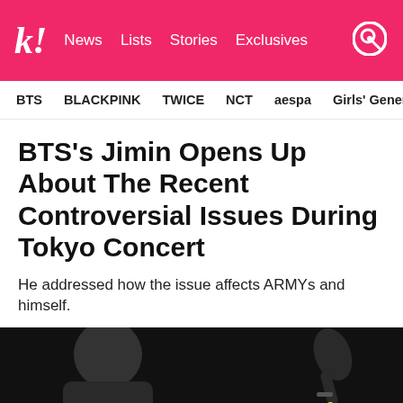Koreaboo | News  Lists  Stories  Exclusives
BTS  BLACKPINK  TWICE  NCT  aespa  Girls' Generation
BTS's Jimin Opens Up About The Recent Controversial Issues During Tokyo Concert
He addressed how the issue affects ARMYs and himself.
[Figure (photo): Photo of BTS Jimin at Tokyo concert on dark background with overlay text: "My heart hurts"]